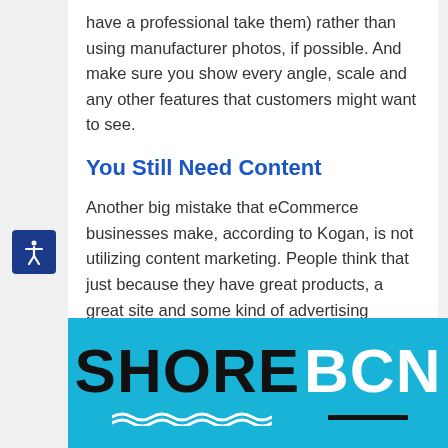have a professional take them) rather than using manufacturer photos, if possible. And make sure you show every angle, scale and any other features that customers might want to see.
You Still Need Content
Another big mistake that eCommerce businesses make, according to Kogan, is not utilizing content marketing. People think that just because they have great products, a great site and some kind of advertising campaign that they don't also need to create content. But Kogan says that adding
[Figure (logo): SHORE BCN logo on a cyan/blue background with wave decoration and underline]